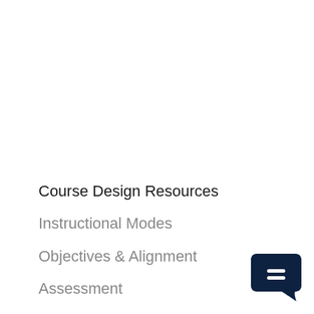Course Design Resources
Instructional Modes
Objectives & Alignment
Assessment
Interaction
Materials & OER
[Figure (illustration): Dark navy blue chat bubble icon with an equals sign (=) inside, rounded square shape with a tail at the bottom right, positioned in the lower right corner]